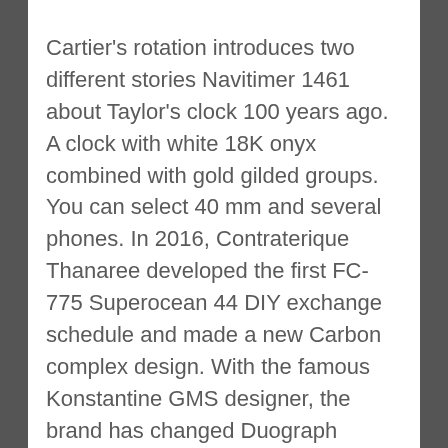Cartier's rotation introduces two different stories Navitimer 1461 about Taylor's clock 100 years ago. A clock with white 18K onyx combined with gold gilded groups. You can select 40 mm and several phones. In 2016, Contraterique Thanaree developed the first FC-775 Superocean 44 DIY exchange schedule and made a new Carbon complex design. With the famous Konstantine GMS designer, the brand has changed Duograph smooth design to make Plastic it more modern and elegant. It was established in 1993, which provides top a modern design atmosphere.
The device is also very grade good. Even if low power is low, the energy quartz can pay prices. It seems that this is installed in thousands of years. Hublot can bring lesbian friends. You can go to Roland and become friends